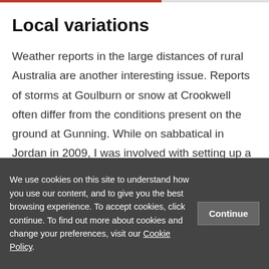Local variations
Weather reports in the large distances of rural Australia are another interesting issue. Reports of storms at Goulburn or snow at Crookwell often differ from the conditions present on the ground at Gunning. While on sabbatical in Jordan in 2009, I was involved with setting up a blog for a professor who
We use cookies on this site to understand how you use our content, and to give you the best browsing experience. To accept cookies, click continue. To find out more about cookies and change your preferences, visit our Cookie Policy.